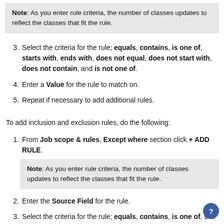Note: As you enter rule criteria, the number of classes updates to reflect the classes that fit the rule.
3. Select the criteria for the rule; equals, contains, is one of, starts with, ends with, does not equal, does not start with, does not contain, and is not one of.
4. Enter a Value for the rule to match on.
5. Repeat if necessary to add additional rules.
To add inclusion  and exclusion rules, do the following:
1. From Job scope & rules, Except where section click + ADD RULE.
Note: As you enter rule criteria, the number of classes updates to reflect the classes that fit the rule.
2. Enter the Source Field for the rule.
3. Select the criteria for the rule; equals, contains, is one of, sta...